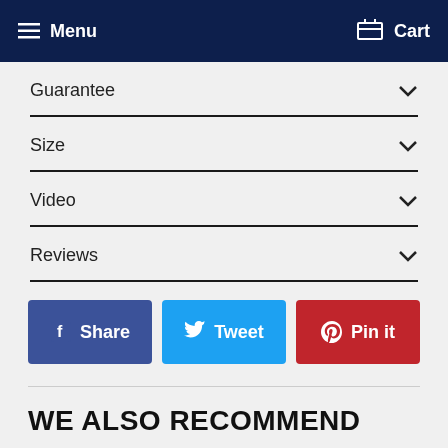Menu   Cart
Guarantee
Size
Video
Reviews
[Figure (infographic): Three social share buttons: Facebook Share (blue), Twitter Tweet (light blue), Pinterest Pin it (red)]
WE ALSO RECOMMEND